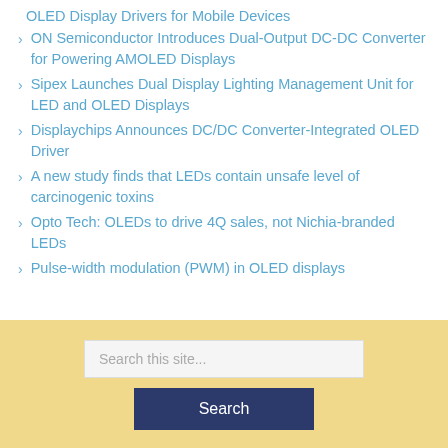OLED Display Drivers for Mobile Devices
ON Semiconductor Introduces Dual-Output DC-DC Converter for Powering AMOLED Displays
Sipex Launches Dual Display Lighting Management Unit for LED and OLED Displays
Displaychips Announces DC/DC Converter-Integrated OLED Driver
A new study finds that LEDs contain unsafe level of carcinogenic toxins
Opto Tech: OLEDs to drive 4Q sales, not Nichia-branded LEDs
Pulse-width modulation (PWM) in OLED displays
[Figure (other): Search box with text input 'Search this site...' and a dark blue Search button on a yellow/gold background]